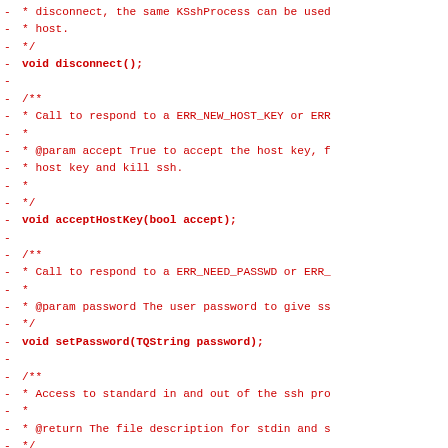Code diff showing C++ class method declarations: disconnect(), acceptHostKey(bool accept), setPassword(TQString password), stdioFd(), and a partial Access to standard error comment.